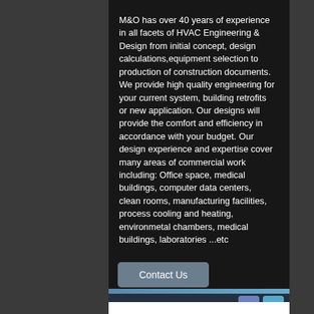M&O has over 40 years of experience in all facets of HVAC Engineering & Design from initial concept, design calculations,equipment selection to production of construction documents. We provide high quality engineering for your current system, building retrofits or new application.  Our designs will provide the comfort and efficiency in accordance with your budget.  Our design experience and expertise cover many areas of commercial work including: Office space, medical buildings, computer data centers, clean rooms, manufacturing facilities, process cooling and heating, environmetal chambers, medical buildings, laboratories ...etc
Contact Us
[Figure (other): Phone icon (green) and email/envelope icon (pink/red) at the bottom of the page on a white background bar]